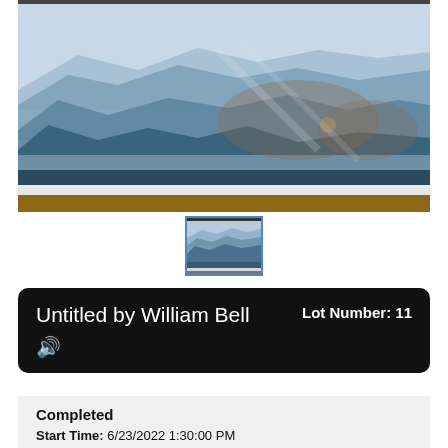[Figure (photo): Framed landscape artwork showing mountain ranges with blue hazy peaks and misty valleys, photographed through glass with reflections visible including a person's hands and a watch]
[Figure (photo): Small thumbnail image of the same mountain landscape artwork in a frame, with a blue border highlight]
Untitled by William Bell   Lot Number: 11
🔊
Completed
Start Time: 6/23/2022 1:30:00 PM